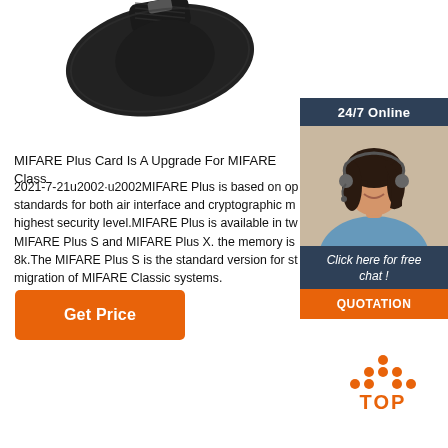[Figure (photo): Black wristband/watch product photo shot from above on white background]
[Figure (photo): 24/7 Online chat widget with a smiling woman wearing a headset, dark blue header reading '24/7 Online', italic text 'Click here for free chat!', and orange QUOTATION button]
MIFARE Plus Card Is A Upgrade For MIFARE Class
2021-7-21u2002·u2002MIFARE Plus is based on op standards for both air interface and cryptographic m highest security level.MIFARE Plus is available in tw MIFARE Plus S and MIFARE Plus X. the memory is 8k.The MIFARE Plus S is the standard version for st migration of MIFARE Classic systems.
[Figure (other): Orange 'Get Price' button]
[Figure (logo): Orange dots arranged in triangle with 'TOP' text below in orange]